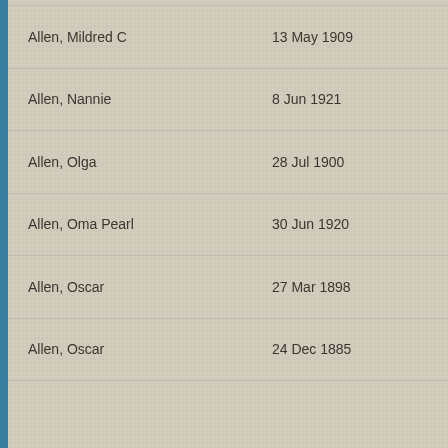| Name | Date |
| --- | --- |
| Allen, Mildred C | 13 May 1909 |
| Allen, Nannie | 8 Jun 1921 |
| Allen, Olga | 28 Jul 1900 |
| Allen, Oma Pearl | 30 Jun 1920 |
| Allen, Oscar | 27 Mar 1898 |
| Allen, Oscar | 24 Dec 1885 |